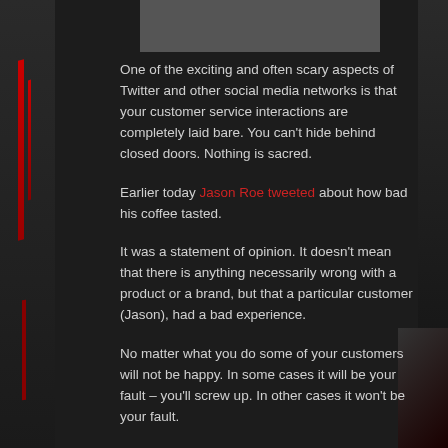[Figure (photo): Partial image visible at top center of page, dark gray rectangle]
One of the exciting and often scary aspects of Twitter and other social media networks is that your customer service interactions are completely laid bare. You can't hide behind closed doors. Nothing is sacred.
Earlier today Jason Roe tweeted about how bad his coffee tasted.
It was a statement of opinion. It doesn't mean that there is anything necessarily wrong with a product or a brand, but that a particular customer (Jason), had a bad experience.
No matter what you do some of your customers will not be happy. In some cases it will be your fault – you'll screw up. In other cases it won't be your fault.
It doesn't matter. It will happen regardless.
So how did this exchange go down and why am I even